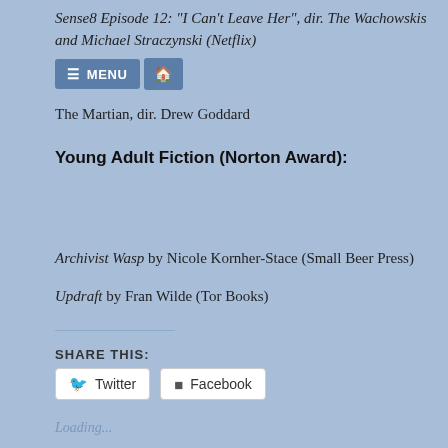Sense8 Episode 12: "I Can't Leave Her", dir. The Wachowskis and Michael Straczynski (Netflix)
The Martian, dir. Drew Goddard
Young Adult Fiction (Norton Award):
Archivist Wasp by Nicole Kornher-Stace (Small Beer Press)
Updraft by Fran Wilde (Tor Books)
SHARE THIS:
Twitter   Facebook
Loading...
RELATED
My Nebula-Eligible Stories & a Few Recommendations
My Award Recommendations and My